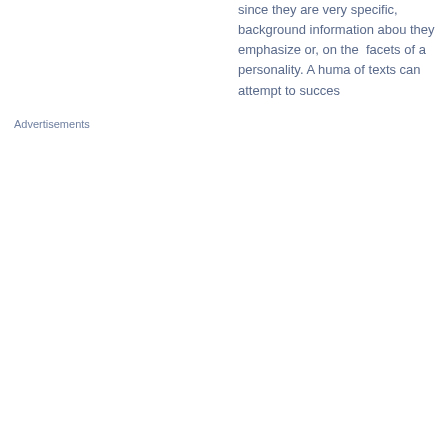since they are very specific, background information about they emphasize or, on the facets of a personality. A human of texts can attempt to succes
Advertisements